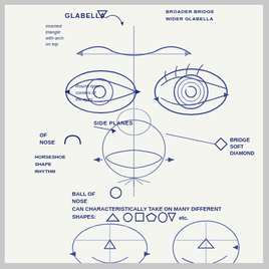[Figure (illustration): A pencil sketch instructional drawing page showing facial anatomy for artists. Top section shows a close-up of eyes and nose bridge with labels: GLABELLA (with inverted triangle shape and note 'inverted triangle with arch on top'), BROADER BRIDGE WIDER GLABELLA, SIDE PLANES OF NOSE with horseshoe arch shape, HORSESHOE SHAPE RHYTHM, BRIDGE SOFT DIAMOND shape, and annotation 'Round open corners of the eyes' with arrows. Middle section has text: BALL OF NOSE (circle shape) CAN CHARACTERISTICALLY TAKE ON MANY DIFFERENT SHAPES: triangle, circle, square, pentagon, pentagon-variant, heart shapes, etc. Bottom section shows two face sketches - a front-view rounded face/nose and a three-quarter view face, both with construction lines.]